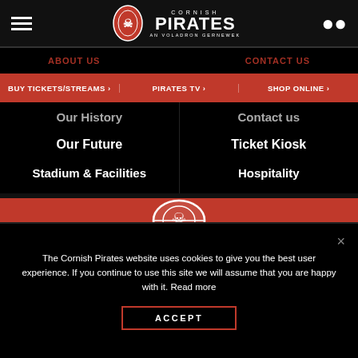Cornish Pirates – AN VOLADRON GERNEWEK
BUY TICKETS/STREAMS >
PIRATES TV >
SHOP ONLINE >
Our History
Contact us
Our Future
Ticket Kiosk
Stadium & Facilities
Hospitality
Travel Information
Privacy Policy
Local Accommodation
Terms & Conditions
Vacancies
Safeguarding Policy
[Figure (logo): Cornish Pirates skull logo in red oval]
The Cornish Pirates website uses cookies to give you the best user experience. If you continue to use this site we will assume that you are happy with it. Read more
ACCEPT